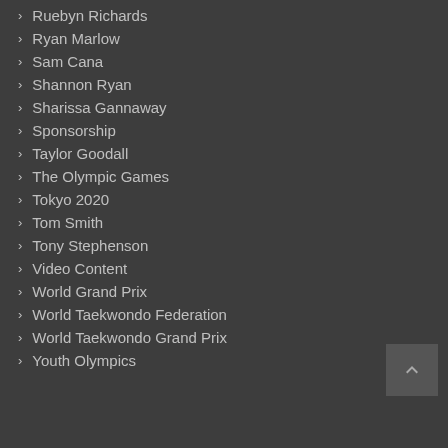Ruebyn Richards
Ryan Marlow
Sam Cana
Shannon Ryan
Sharissa Gannaway
Sponsorship
Taylor Goodall
The Olympic Games
Tokyo 2020
Tom Smith
Tony Stephenson
Video Content
World Grand Prix
World Taekwondo Federation
World Taekwondo Grand Prix
Youth Olympics